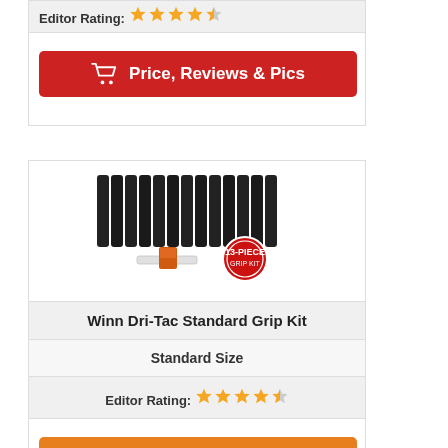Editor Rating: ★★★★½
[Figure (other): Red 'Price, Reviews & Pics' button with shopping cart icon]
[Figure (photo): Winn Dri-Tac Standard Grip Kit product image showing multiple black grips and 13-piece kit badge]
Winn Dri-Tac Standard Grip Kit
Standard Size
Editor Rating: ★★★★½
[Figure (other): Orange 'Price, Reviews & Pics' button with shopping cart icon]